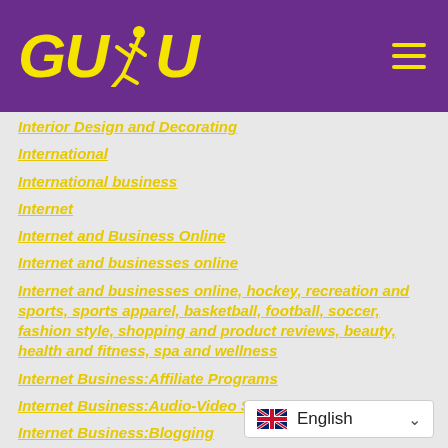[Figure (logo): GUDU logo with yellow bold italic text and runner icon on purple background, with hamburger menu icon on right]
Interior Design and Decorating
International
International business
Internet
Internet and Business Online
Internet and businesses online
Internet and businesses online, hockey, recreation and sports, sports apparel, basketball, football, soccer, fashion style, shopping and product reviews, beauty, health and fitness, spa and wellness
Internet Business:Affiliate Programs
Internet Business:Audio-Video Streaming
Internet Business:Blogging
Internet Business:Domains